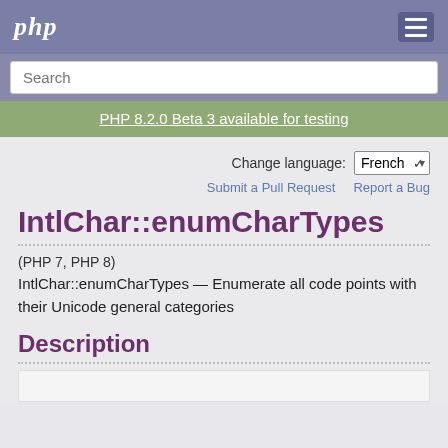php
Search
PHP 8.2.0 Beta 3 available for testing
Change language: French
Submit a Pull Request   Report a Bug
IntlChar::enumCharTypes
(PHP 7, PHP 8)
IntlChar::enumCharTypes — Enumerate all code points with their Unicode general categories
Description